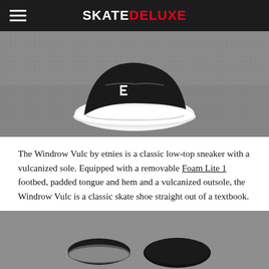SKATEDELUXE
[Figure (photo): Close-up photo of a black etnies Windrow Vulc low-top skate sneaker on a concrete/asphalt surface. The shoe is black with a white vulcanized sole and the etnies logo visible on the side.]
The Windrow Vulc by etnies is a classic low-top sneaker with a vulcanized sole. Equipped with a removable Foam Lite 1 footbed, padded tongue and hem and a vulcanized outsole, the Windrow Vulc is a classic skate shoe straight out of a textbook.
[Figure (photo): Photo taken from above showing two black etnies skate shoes on a concrete/asphalt surface, viewed from the toe end.]